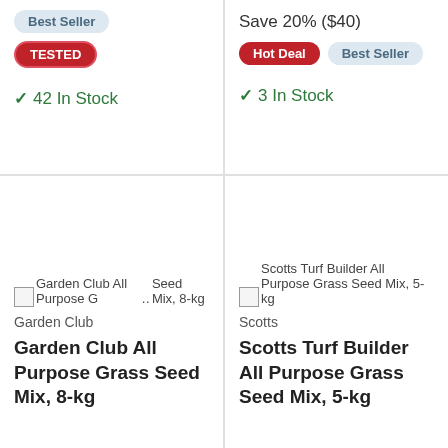Best Seller
TESTED
42 In Stock
Save 20% ($40)
Hot Deal
Best Seller
3 In Stock
[Figure (photo): Garden Club All Purpose Grass Seed Mix, 8-kg product image (broken/loading)]
Garden Club
Garden Club All Purpose Grass Seed Mix, 8-kg
[Figure (photo): Scotts Turf Builder All Purpose Grass Seed Mix, 5-kg product image (broken/loading)]
Scotts
Scotts Turf Builder All Purpose Grass Seed Mix, 5-kg